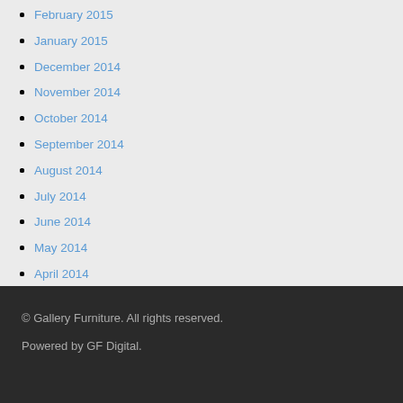February 2015
January 2015
December 2014
November 2014
October 2014
September 2014
August 2014
July 2014
June 2014
May 2014
April 2014
March 2014
February 2014
© Gallery Furniture. All rights reserved.
Powered by GF Digital.